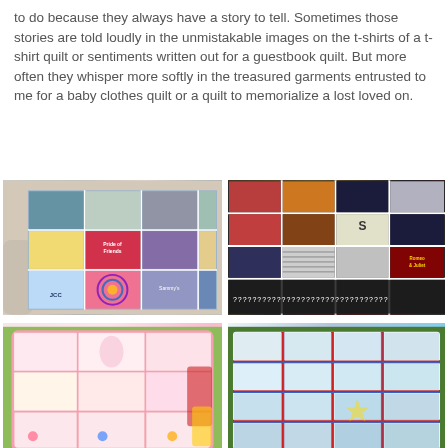to do because they always have a story to tell. Sometimes those stories are told loudly in the unmistakable images on the t-shirts of a t-shirt quilt or sentiments written out for a guestbook quilt. But more often they whisper more softly in the treasured garments entrusted to me for a baby clothes quilt or a quilt to memorialize a lost loved on.
[Figure (photo): Colorful t-shirt quilt draped over a sofa/chair, showing many t-shirt panels in various colors including blue, purple, green, and red arranged in a patchwork grid]
[Figure (photo): Dark colored t-shirt quilt displayed outdoors, with panels of various t-shirts in dark, orange, yellow, and red colors arranged in a grid pattern with white sashing]
[Figure (photo): Baby clothes quilt with light pink and white panels, appearing soft and delicate with baby garment patches]
[Figure (photo): Memorial or grid-style quilt displayed outdoors against green foliage, with light colored panels separated by a red and blue grid pattern]